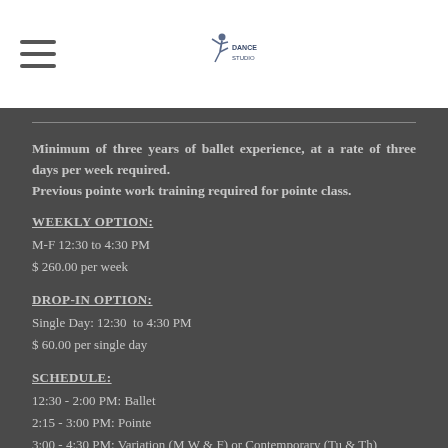[Figure (logo): Dance studio logo with dancer silhouette and text]
Minimum of three years of ballet experience, at a rate of three days per week required. Previous pointe work training required for pointe class.
WEEKLY OPTION:
M-F 12:30 to 4:30 PM
$ 260.00 per week
DROP-IN OPTION:
Single Day: 12:30  to 4:30 PM
$ 60.00 per single day
SCHEDULE:
12:30 - 2:00 PM: Ballet
2:15 - 3:00 PM: Pointe
3:00 - 4:30 PM: Variation (M,W & F) or Contemporary (Tu & Th)